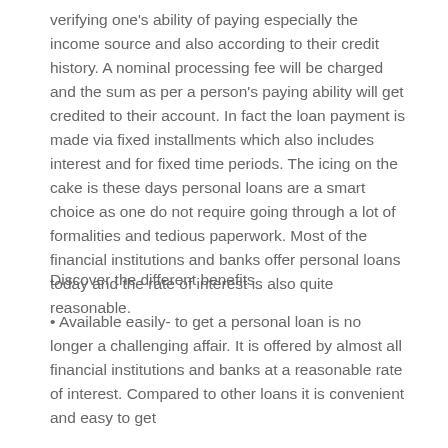verifying one's ability of paying especially the income source and also according to their credit history. A nominal processing fee will be charged and the sum as per a person's paying ability will get credited to their account. In fact the loan payment is made via fixed installments which also includes interest and for fixed time periods. The icing on the cake is these days personal loans are a smart choice as one do not require going through a lot of formalities and tedious paperwork. Most of the financial institutions and banks offer personal loans today and the rate of interest is also quite reasonable.
Discover the different benefits
• Available easily- to get a personal loan is no longer a challenging affair. It is offered by almost all financial institutions and banks at a reasonable rate of interest. Compared to other loans it is convenient and easy to get